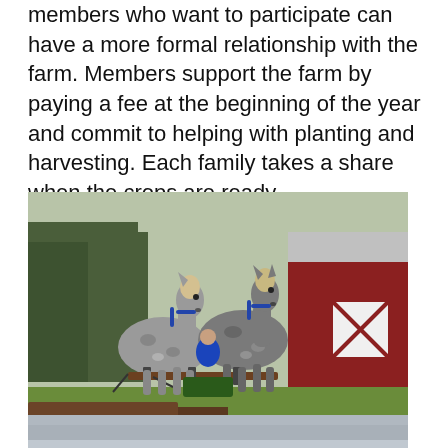members who want to participate can have a more formal relationship with the farm. Members support the farm by paying a fee at the beginning of the year and commit to helping with planting and harvesting. Each family takes a share when the crops are ready.
[Figure (photo): Two dapple-grey draft horses in blue harnesses pulling farm equipment across plowed soil, with a red barn visible in the background.]
[Figure (photo): Partial view of another farm photo, cropped at bottom of page.]